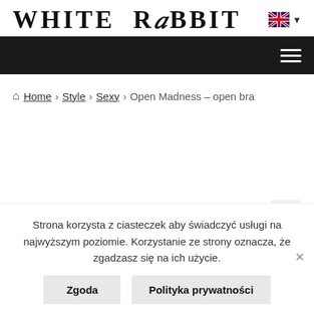[Figure (logo): White Rabbit logo in bold serif/display font, uppercase]
[Figure (screenshot): UK flag icon and dropdown arrow for language selector]
[Figure (screenshot): Dark navigation bar with hamburger menu icon (three white lines)]
Home › Style › Sexy › Open Madness – open bra
[Figure (screenshot): Zoom/search magnifier button (light grey square with magnifying glass icon)]
Strona korzysta z ciasteczek aby świadczyć usługi na najwyższym poziomie. Korzystanie ze strony oznacza, że zgadzasz się na ich użycie.
Zgoda
Polityka prywatności